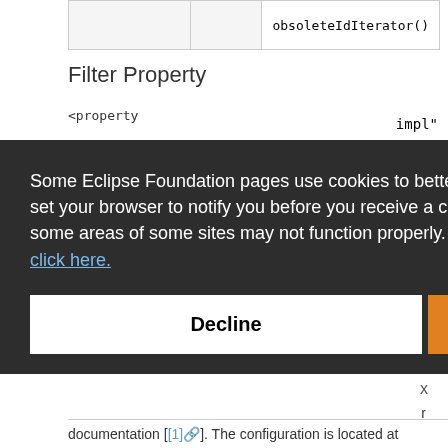|  |  |  |
| --- | --- | --- |
|  |  | obsoleteIdIterator() |
Filter Property
<property
impl"
ration_in_s
Some Eclipse Foundation pages use cookies to better serve you when you return to the site. You can set your browser to notify you before you receive a cookie or turn off cookies. If you do so, however, some areas of some sites may not function properly. To read Eclipse Foundation Privacy Policy
click here.
Decline
Allow cookies
documentation [[1]]. The configuration is located at